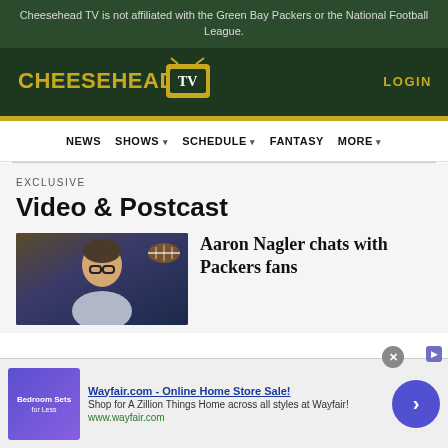Cheesehead TV is not affiliated with the Green Bay Packers or the National Football League.
[Figure (logo): Cheesehead TV logo with yellow text and TV icon on dark green background]
LOGIN
EXCLUSIVE
Video & Postcast
[Figure (photo): Thumbnail of Aaron Nagler with football imagery in background]
Aaron Nagler chats with Packers fans
Wayfair.com - Online Home Store Sale! Shop for A Zillion Things Home across all styles at Wayfair! www.wayfair.com